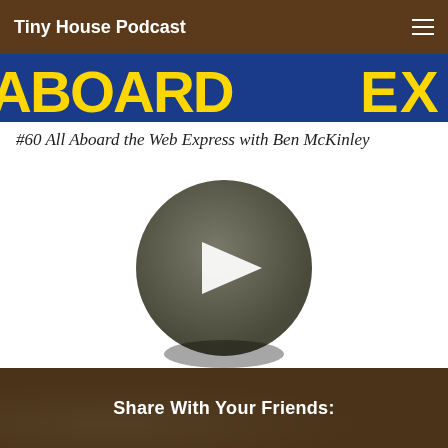Tiny House Podcast
[Figure (screenshot): Partial banner image with yellow letters on dark blue background, partially obscured by header bar]
#60 All Aboard the Web Express with Ben McKinley
[Figure (other): Circular podcast audio player button — dark gray circle with white play triangle in center]
[Figure (other): Audio progress bar showing 00:00 on left and 00:00 on right on gray background]
Share With Your Friends: